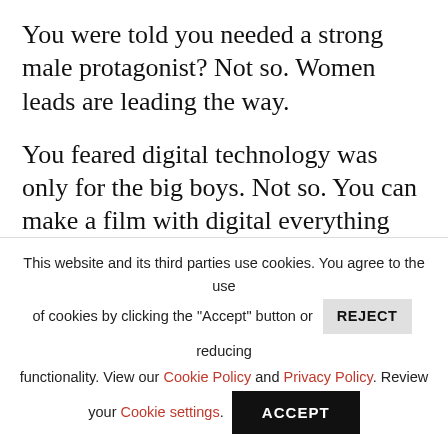You were told you needed a strong male protagonist? Not so. Women leads are leading the way.
You feared digital technology was only for the big boys. Not so. You can make a film with digital everything and sell it.
You assumed the big screen was the one true door to success. Not so. The small screen with all kinds of access is offering
This website and its third parties use cookies. You agree to the use of cookies by clicking the "Accept" button or REJECT reducing functionality. View our Cookie Policy and Privacy Policy. Review your Cookie settings.